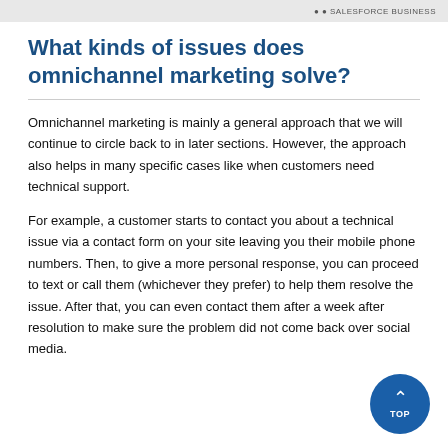SALESFORCE BUSINESS
What kinds of issues does omnichannel marketing solve?
Omnichannel marketing is mainly a general approach that we will continue to circle back to in later sections. However, the approach also helps in many specific cases like when customers need technical support.
For example, a customer starts to contact you about a technical issue via a contact form on your site leaving you their mobile phone numbers. Then, to give a more personal response, you can proceed to text or call them (whichever they prefer) to help them resolve the issue. After that, you can even contact them after a week after resolution to make sure the problem did not come back over social media.